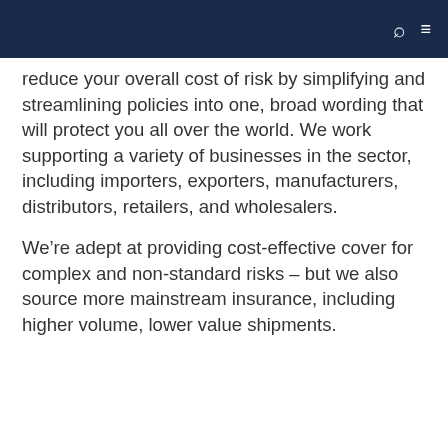reduce your overall cost of risk by simplifying and streamlining policies into one, broad wording that will protect you all over the world. We work supporting a variety of businesses in the sector, including importers, exporters, manufacturers, distributors, retailers, and wholesalers.
We’re adept at providing cost-effective cover for complex and non-standard risks – but we also source more mainstream insurance, including higher volume, lower value shipments.